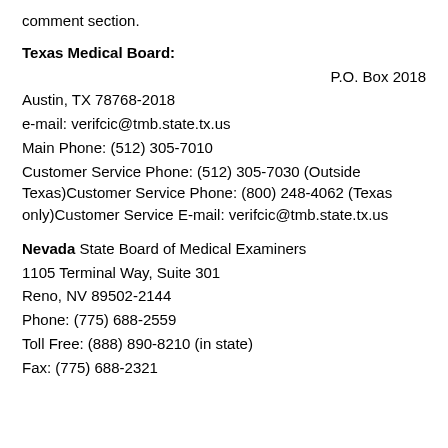comment section.
Texas Medical Board:
P.O. Box 2018
Austin, TX 78768-2018
e-mail: verifcic@tmb.state.tx.us
Main Phone: (512) 305-7010
Customer Service Phone: (512) 305-7030 (Outside Texas)Customer Service Phone: (800) 248-4062 (Texas only)Customer Service E-mail: verifcic@tmb.state.tx.us
Nevada State Board of Medical Examiners
1105 Terminal Way, Suite 301
Reno, NV 89502-2144
Phone: (775) 688-2559
Toll Free: (888) 890-8210 (in state)
Fax: (775) 688-2321